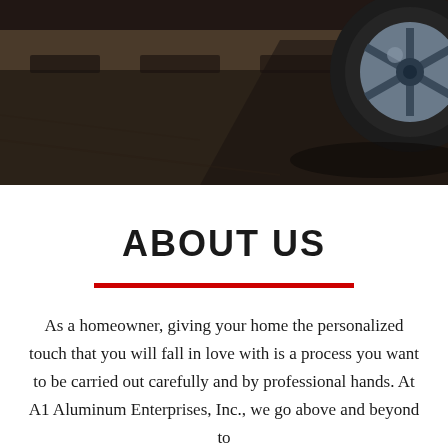[Figure (photo): Dark overhead photo of a car tire/wheel on a road surface with shadows and road markings visible]
ABOUT US
As a homeowner, giving your home the personalized touch that you will fall in love with is a process you want to be carried out carefully and by professional hands. At A1 Aluminum Enterprises, Inc., we go above and beyond to